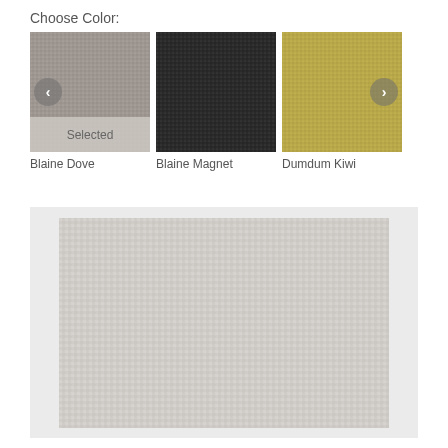Choose Color:
[Figure (photo): Three fabric color swatches: Blaine Dove (gray, selected), Blaine Magnet (dark charcoal), Dumdum Kiwi (olive/yellow-green). Left and right navigation arrows visible.]
Blaine Dove
Blaine Magnet
Dumdum Kiwi
[Figure (photo): Large close-up preview of the Blaine Dove fabric texture — a light gray woven textile.]